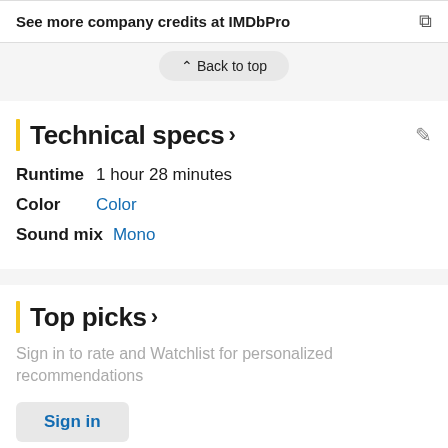See more company credits at IMDbPro
Back to top
Technical specs >
Runtime  1 hour 28 minutes
Color  Color
Sound mix  Mono
Top picks >
Sign in to rate and Watchlist for personalized recommendations
Sign in